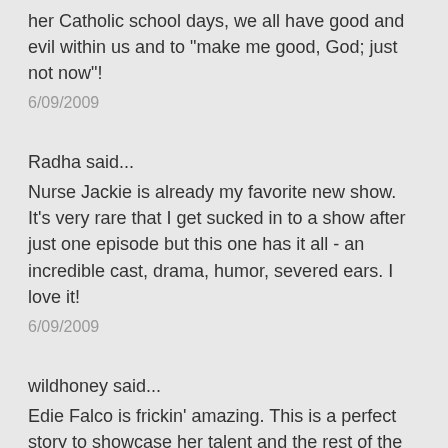her Catholic school days, we all have good and evil within us and to "make me good, God; just not now"!
6/09/2009
Radha said...
Nurse Jackie is already my favorite new show. It's very rare that I get sucked in to a show after just one episode but this one has it all - an incredible cast, drama, humor, severed ears. I love it!
6/09/2009
wildhoney said...
Edie Falco is frickin' amazing. This is a perfect story to showcase her talent and the rest of the cast is wonderful as well.